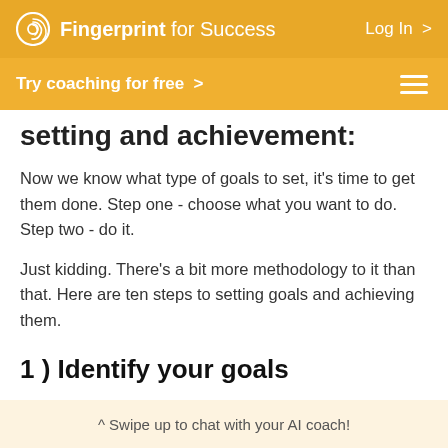Fingerprint for Success   Log In >
Try coaching for free >
setting and achievement:
Now we know what type of goals to set, it's time to get them done. Step one - choose what you want to do. Step two - do it.
Just kidding. There's a bit more methodology to it than that. Here are ten steps to setting goals and achieving them.
1 ) Identify your goals
^ Swipe up to chat with your AI coach!